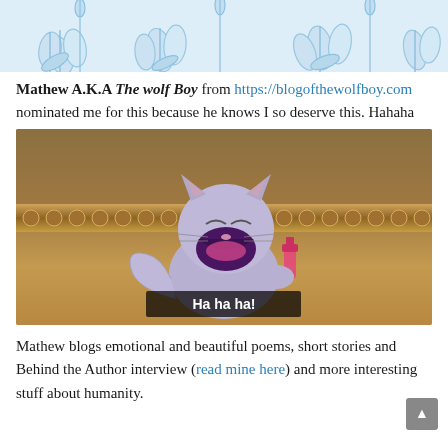[Figure (illustration): Light blue floral illustration with lily-like flowers and leaves on white background]
Mathew A.K.A The wolf Boy from https://blogofthewolfboy.com nominated me for this because he knows I so deserve this. Hahaha
[Figure (illustration): Animated cartoon cat laughing with mouth wide open holding a pink flask, with subtitle 'Ha ha ha!' on golden decorative background]
Mathew blogs emotional and beautiful poems, short stories and Behind the Author interview (read mine here) and more interesting stuff about humanity.